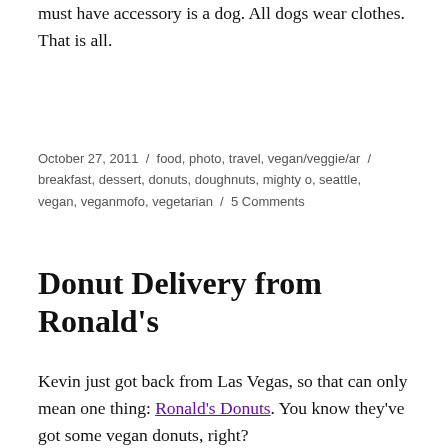must have accessory is a dog. All dogs wear clothes. That is all.
October 27, 2011 / food, photo, travel, vegan/veggie/ar / breakfast, dessert, donuts, doughnuts, mighty o, seattle, vegan, veganmofo, vegetarian / 5 Comments
Donut Delivery from Ronald's
Kevin just got back from Las Vegas, so that can only mean one thing: Ronald's Donuts. You know they've got some vegan donuts, right?